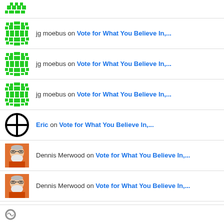jg moebus on Vote for What You Believe In,...
jg moebus on Vote for What You Believe In,...
jg moebus on Vote for What You Believe In,...
Eric on Vote for What You Believe In,...
Dennis Merwood on Vote for What You Believe In,...
Dennis Merwood on Vote for What You Believe In,...
[Figure (logo): WordPress logo icon at the bottom of the page]